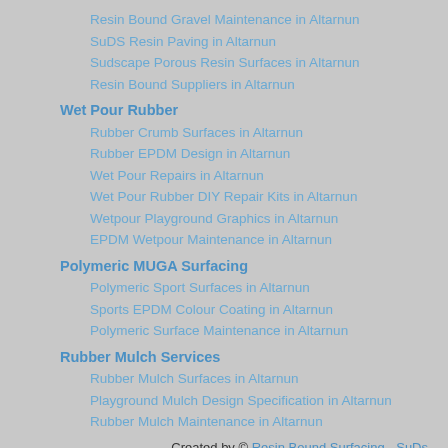Resin Bound Gravel Maintenance in Altarnun
SuDS Resin Paving in Altarnun
Sudscape Porous Resin Surfaces in Altarnun
Resin Bound Suppliers in Altarnun
Wet Pour Rubber
Rubber Crumb Surfaces in Altarnun
Rubber EPDM Design in Altarnun
Wet Pour Repairs in Altarnun
Wet Pour Rubber DIY Repair Kits in Altarnun
Wetpour Playground Graphics in Altarnun
EPDM Wetpour Maintenance in Altarnun
Polymeric MUGA Surfacing
Polymeric Sport Surfaces in Altarnun
Sports EPDM Colour Coating in Altarnun
Polymeric Surface Maintenance in Altarnun
Rubber Mulch Services
Rubber Mulch Surfaces in Altarnun
Playground Mulch Design Specification in Altarnun
Rubber Mulch Maintenance in Altarnun
Created by © Resin Bound Surfacing - SuDs
[Figure (logo): DMCA Protected badge with red DMCA label and white PROTECTED text on dark background]